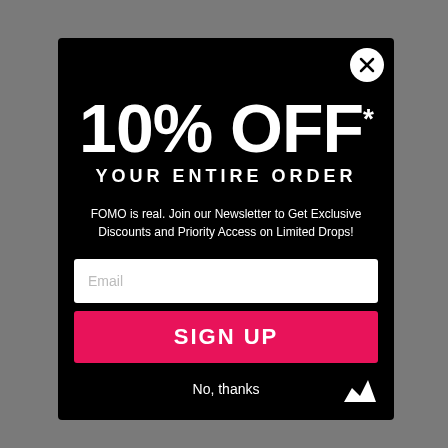10% OFF YOUR ENTIRE ORDER
FOMO is real. Join our Newsletter to Get Exclusive Discounts and Priority Access on Limited Drops!
Email
SIGN UP
No, thanks